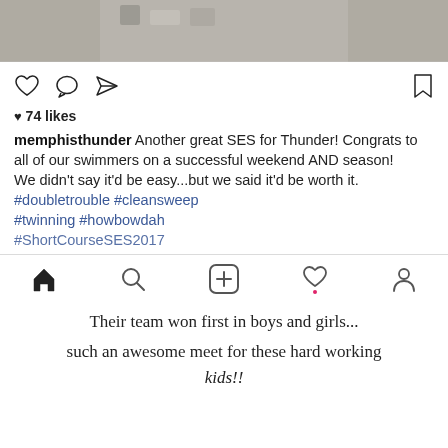[Figure (photo): Top portion of an Instagram post photo showing a swimming pool scene, partially cropped]
[Figure (screenshot): Instagram post interface with action icons (heart, comment, share, bookmark), 74 likes, post by memphisthunder about SES swimming competition, hashtags #doubletrouble #cleansweep #twinning #howbowdah #ShortCourseSES2017, and bottom navigation bar]
Their team won first in boys and girls...
such an awesome meet for these hard working
kids!!